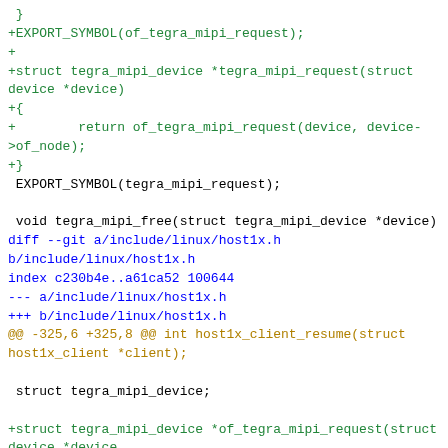}
+EXPORT_SYMBOL(of_tegra_mipi_request);
+
+struct tegra_mipi_device *tegra_mipi_request(struct device *device)
+{
+        return of_tegra_mipi_request(device, device->of_node);
+}
 EXPORT_SYMBOL(tegra_mipi_request);

 void tegra_mipi_free(struct tegra_mipi_device *device)
diff --git a/include/linux/host1x.h b/include/linux/host1x.h
index c230b4e..a61ca52 100644
--- a/include/linux/host1x.h
+++ b/include/linux/host1x.h
@@ -325,6 +325,8 @@ int host1x_client_resume(struct host1x_client *client);

  struct tegra_mipi_device;

+struct tegra_mipi_device *of_tegra_mipi_request(struct device *device,
+                                               struct device_node *np);
 struct tegra_mipi_device *tegra_mipi_request(struct device *device);
 void tegra_mipi_free(struct tegra_mipi_device *device);